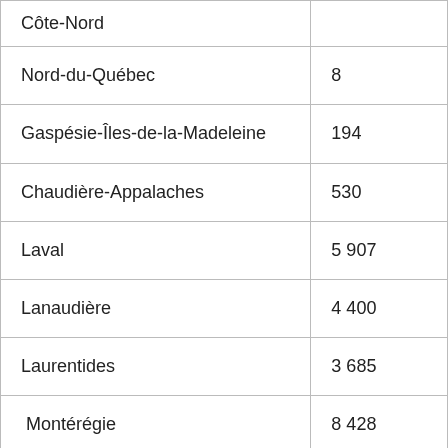| Region | Value |
| --- | --- |
| Côte-Nord |  |
| Nord-du-Québec | 8 |
| Gaspésie-Îles-de-la-Madeleine | 194 |
| Chaudière-Appalaches | 530 |
| Laval | 5 907 |
| Lanaudière | 4 400 |
| Laurentides | 3 685 |
| Montérégie | 8 428 |
|  | 17 |